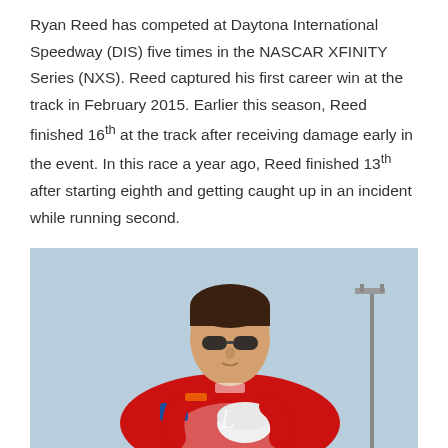Ryan Reed has competed at Daytona International Speedway (DIS) five times in the NASCAR XFINITY Series (NXS). Reed captured his first career win at the track in February 2015. Earlier this season, Reed finished 16th at the track after receiving damage early in the event. In this race a year ago, Reed finished 13th after starting eighth and getting caught up in an incident while running second.
[Figure (photo): Photo of Ryan Reed wearing sunglasses and a red NASCAR racing suit with various sponsor logos, holding a white helmet, standing outdoors at a racetrack with a light pole visible in the background.]